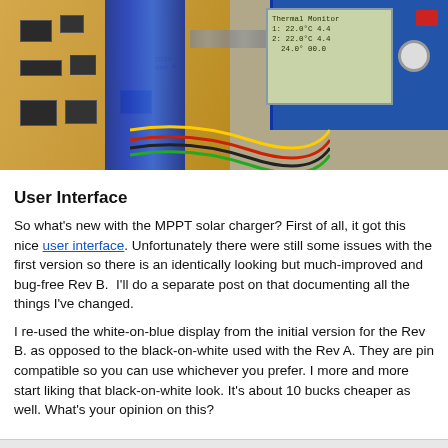[Figure (photo): Photo of an MPPT solar charger PCB board (gold/tan colored) with a blue C-clamp and a blue LCD display module showing text on screen, connected by wires. The LCD screen shows 'Thermal Monitor' with numerical readings.]
User Interface
So what's new with the MPPT solar charger? First of all, it got this nice user interface. Unfortunately there were still some issues with the first version so there is an identically looking but much-improved and bug-free Rev B.  I'll do a separate post on that documenting all the things I've changed.
I re-used the white-on-blue display from the initial version for the Rev B. as opposed to the black-on-white used with the Rev A. They are pin compatible so you can use whichever you prefer. I more and more start liking that black-on-white look. It's about 10 bucks cheaper as well. What's your opinion on this?